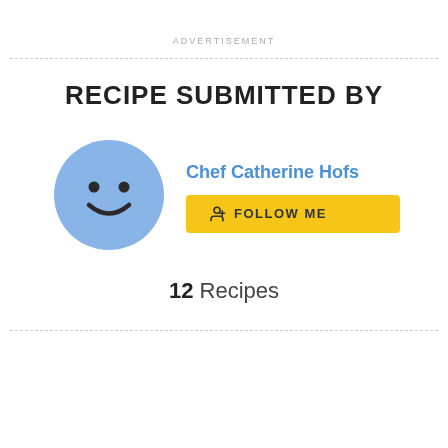ADVERTISEMENT
RECIPE SUBMITTED BY
[Figure (illustration): Blue circle avatar with smiley face icon (two dot eyes and curved smile), representing a user profile photo placeholder]
Chef Catherine Hofs
FOLLOW ME
12 Recipes